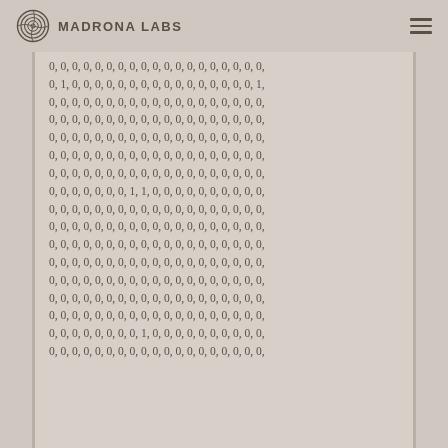Madrona Labs
0, 0, 0, 0, 0, 0, 0, 0, 0, 0, 0, 0, 0, 0, 0, 0, 0, 0, 0,
0, 1, 0, 0, 0, 0, 0, 0, 0, 0, 0, 0, 0, 0, 0, 0, 0, 0, 1,
0, 0, 0, 0, 0, 0, 0, 0, 0, 0, 0, 0, 0, 0, 0, 0, 0, 0, 0,
0, 0, 0, 0, 0, 0, 0, 0, 0, 0, 0, 0, 0, 0, 0, 0, 0, 0, 0,
0, 0, 0, 0, 0, 0, 0, 0, 0, 0, 0, 0, 0, 0, 0, 0, 0, 0, 0,
0, 0, 0, 0, 0, 0, 0, 0, 0, 0, 0, 0, 0, 0, 0, 0, 0, 0, 0,
0, 0, 0, 0, 0, 0, 0, 0, 0, 0, 0, 0, 0, 0, 0, 0, 0, 0, 0,
0, 0, 0, 0, 0, 0, 0, 1, 1, 0, 0, 0, 0, 0, 0, 0, 0, 0, 0,
0, 0, 0, 0, 0, 0, 0, 0, 0, 0, 0, 0, 0, 0, 0, 0, 0, 0, 0,
0, 0, 0, 0, 0, 0, 0, 0, 0, 0, 0, 0, 0, 0, 0, 0, 0, 0, 0,
0, 0, 0, 0, 0, 0, 0, 0, 0, 0, 0, 0, 0, 0, 0, 0, 0, 0, 0,
0, 0, 0, 0, 0, 0, 0, 0, 0, 0, 0, 0, 0, 0, 0, 0, 0, 0, 0,
0, 0, 0, 0, 0, 0, 0, 0, 0, 0, 0, 0, 0, 0, 0, 0, 0, 0, 0,
0, 0, 0, 0, 0, 0, 0, 0, 0, 0, 0, 0, 0, 0, 0, 0, 0, 0, 0,
0, 0, 0, 0, 0, 0, 0, 0, 0, 0, 0, 0, 0, 0, 0, 0, 0, 0, 0,
0, 0, 0, 0, 0, 0, 0, 0, 1, 0, 0, 0, 0, 0, 0, 0, 0, 0, 0,
0, 0, 0, 0, 0, 0, 0, 0, 0, 0, 0, 0, 0, 0, 0, 0, 0, 0, 0,